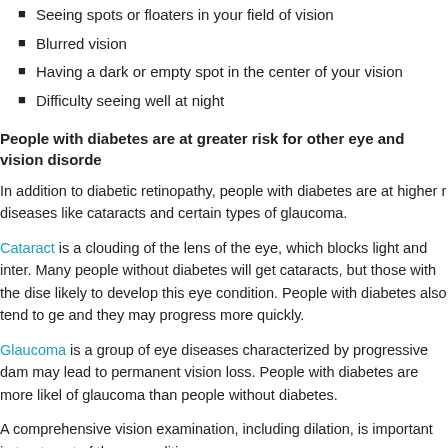Seeing spots or floaters in your field of vision
Blurred vision
Having a dark or empty spot in the center of your vision
Difficulty seeing well at night
People with diabetes are at greater risk for other eye and vision disorde
In addition to diabetic retinopathy, people with diabetes are at higher r diseases like cataracts and certain types of glaucoma.
Cataract is a clouding of the lens of the eye, which blocks light and inter. Many people without diabetes will get cataracts, but those with the dise likely to develop this eye condition. People with diabetes also tend to ge and they may progress more quickly.
Glaucoma is a group of eye diseases characterized by progressive dam may lead to permanent vision loss. People with diabetes are more likely of glaucoma than people without diabetes.
A comprehensive vision examination, including dilation, is important in treatment of these conditions.
Prevention, prevention, prevention